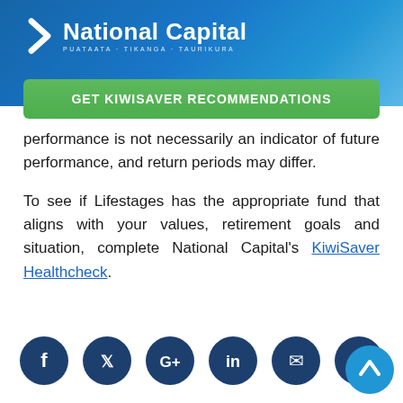National Capital — PUATAATA · TIKANGA · TAURIKURA
GET KIWISAVER RECOMMENDATIONS
performance is not necessarily an indicator of future performance, and return periods may differ.
To see if Lifestages has the appropriate fund that aligns with your values, retirement goals and situation, complete National Capital's KiwiSaver Healthcheck.
[Figure (other): Social media icons row: Facebook, Twitter, Google+, LinkedIn, Email, WhatsApp — all dark navy circular icons. Plus a blue scroll-to-top arrow button at bottom right.]